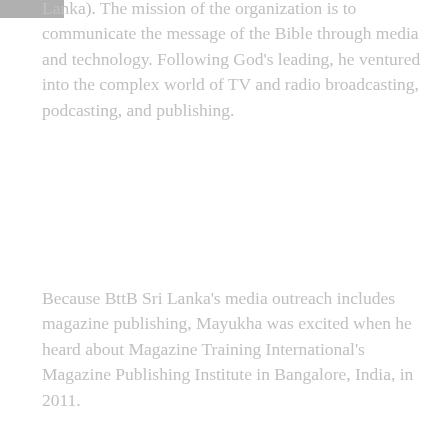Lanka). The mission of the organization is to communicate the message of the Bible through media and technology. Following God's leading, he ventured into the complex world of TV and radio broadcasting, podcasting, and publishing.
Because BttB Sri Lanka's media outreach includes magazine publishing, Mayukha was excited when he heard about Magazine Training International's Magazine Publishing Institute in Bangalore, India, in 2011.